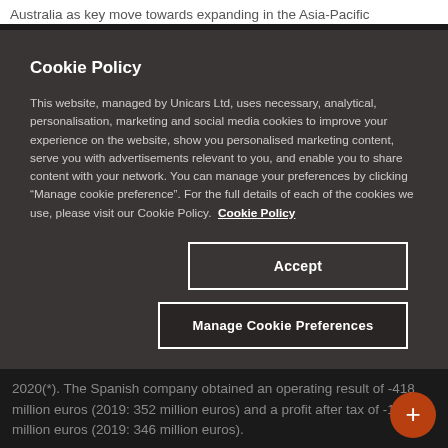Australia as key move towards expanding in the Asia-Pacific
Cookie Policy
This website, managed by Unicars Ltd, uses necessary, analytical, personalisation, marketing and social media cookies to improve your experience on the website, show you personalised marketing content, serve you with advertisements relevant to you, and enable you to share content with your network. You can manage your preferences by clicking "Manage cookie preference". For the full details of each of the cookies we use, please visit our Cookie Policy.  Cookie Policy
Accept
Manage Cookie Preferences
2020(*). The Spanish company obtained an operating result of -418 million euros (2019: 352 million euros) and a profit after tax of -194 million euros (2019: 346 million euros).